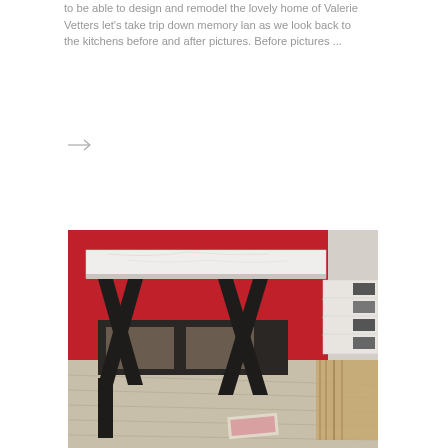to be able to design and remodel the lovely home of Valerie Vetters let's take trip down memory lan as we look back to the kitchens before and after pictures. Before pictures ...
[Figure (other): Small right-arrow icon/symbol]
[Figure (photo): Photo of a table with a white marble top and dark X-shaped metal legs, set against a bright red wall. To the right are stacked white boxes and wooden planks on a light wood floor.]